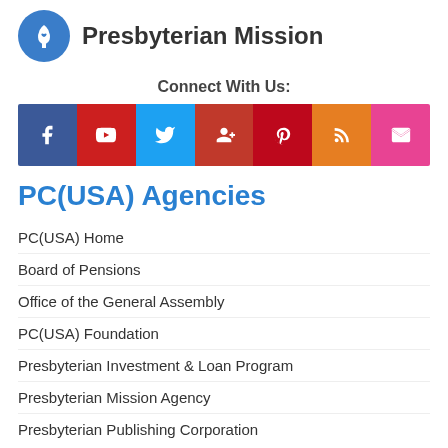[Figure (logo): Presbyterian Mission logo — blue circle with white torch/flame icon and bold text 'Presbyterian Mission']
Connect With Us:
[Figure (infographic): Social media icon bar with 7 colored buttons: Facebook (blue), YouTube (red), Twitter (light blue), Google+ (dark red), Pinterest (red), RSS (orange), Email (pink)]
PC(USA) Agencies
PC(USA) Home
Board of Pensions
Office of the General Assembly
PC(USA) Foundation
Presbyterian Investment & Loan Program
Presbyterian Mission Agency
Presbyterian Publishing Corporation